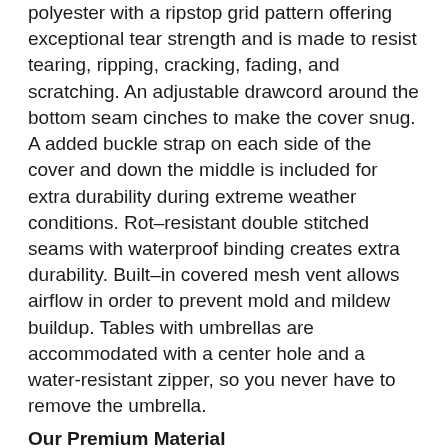polyester with a ripstop grid pattern offering exceptional tear strength and is made to resist tearing, ripping, cracking, fading, and scratching. An adjustable drawcord around the bottom seam cinches to make the cover snug. A added buckle strap on each side of the cover and down the middle is included for extra durability during extreme weather conditions. Rot–resistant double stitched seams with waterproof binding creates extra durability. Built–in covered mesh vent allows airflow in order to prevent mold and mildew buildup. Tables with umbrellas are accommodated with a center hole and a water-resistant zipper, so you never have to remove the umbrella.
Our Premium Material
Attractive without sacrificing durability, Covermates Prestige covers are designed for those who value style as much as protection. If you've spent hundreds or thousands of dollars on a patio furniture set, you need top–notch protection for it. The Prestige